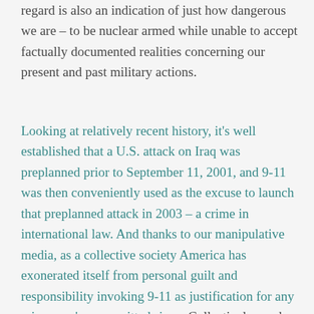regard is also an indication of just how dangerous we are – to be nuclear armed while unable to accept factually documented realities concerning our present and past military actions.
Looking at relatively recent history, it's well established that a U.S. attack on Iraq was preplanned prior to September 11, 2001, and 9-11 was then conveniently used as the excuse to launch that preplanned attack in 2003 – a crime in international law. And thanks to our manipulative media, as a collective society America has exonerated itself from personal guilt and responsibility invoking 9-11 as justification for any crimes we've committed since. Collectively we deny the reality that hundreds of thousands of violent Iraqi deaths and